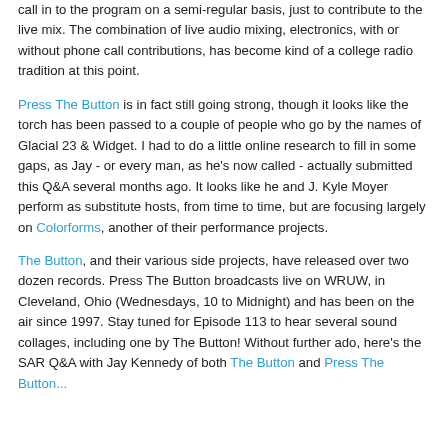call in to the program on a semi-regular basis, just to contribute to the live mix. The combination of live audio mixing, electronics, with or without phone call contributions, has become kind of a college radio tradition at this point.
Press The Button is in fact still going strong, though it looks like the torch has been passed to a couple of people who go by the names of Glacial 23 & Widget. I had to do a little online research to fill in some gaps, as Jay - or every man, as he's now called - actually submitted this Q&A several months ago. It looks like he and J. Kyle Moyer perform as substitute hosts, from time to time, but are focusing largely on Colorforms, another of their performance projects.
The Button, and their various side projects, have released over two dozen records. Press The Button broadcasts live on WRUW, in Cleveland, Ohio (Wednesdays, 10 to Midnight) and has been on the air since 1997. Stay tuned for Episode 113 to hear several sound collages, including one by The Button! Without further ado, here's the SAR Q&A with Jay Kennedy of both The Button and Press The Button...